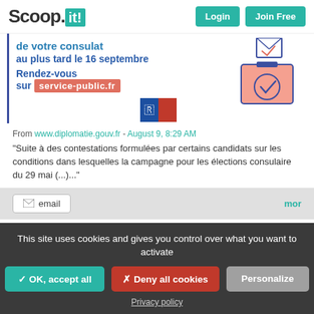Scoop.it! Login Join Free
[Figure (infographic): French government voting registration banner: 'de votre consulat au plus tard le 16 septembre. Rendez-vous sur service-public.fr' with ballot box illustration and French flag logo]
From www.diplomatie.gouv.fr - August 9, 8:29 AM
"Suite à des contestations formulées par certains candidats sur les conditions dans lesquelles la campagne pour les élections consulaire du 29 mai (...)..."
email  mor
This site uses cookies and gives you control over what you want to activate
✓ OK, accept all  ✗ Deny all cookies  Personalize
Privacy policy